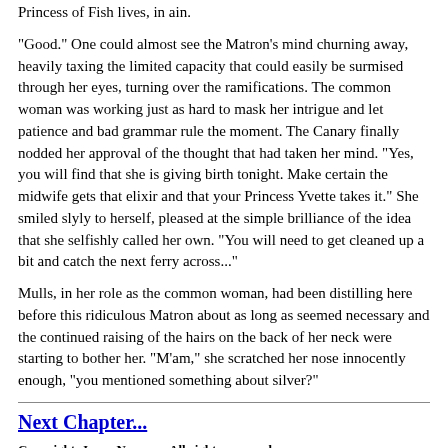Princess of Fish lives, in ain.
"Good." One could almost see the Matron's mind churning away, heavily taxing the limited capacity that could easily be surmised through her eyes, turning over the ramifications. The common woman was working just as hard to mask her intrigue and let patience and bad grammar rule the moment. The Canary finally nodded her approval of the thought that had taken her mind. "Yes, you will find that she is giving birth tonight. Make certain the midwife gets that elixir and that your Princess Yvette takes it." She smiled slyly to herself, pleased at the simple brilliance of the idea that she selfishly called her own. "You will need to get cleaned up a bit and catch the next ferry across..."
Mulls, in her role as the common woman, had been distilling here before this ridiculous Matron about as long as seemed necessary and the continued raising of the hairs on the back of her neck were starting to bother her. "M'am," she scratched her nose innocently enough, "you mentioned something about silver?"
Next Chapter...
Copyright, Jason Nemrow. All rights reserved.